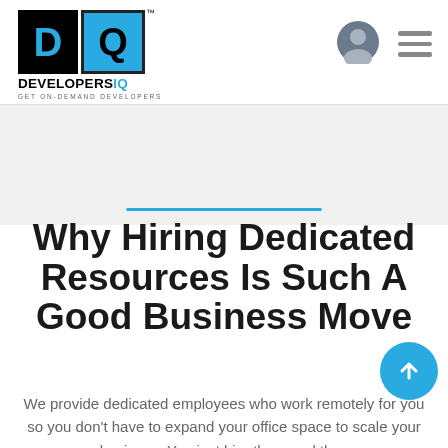[Figure (logo): DevelopersIQ logo with D and Q letters in black and cyan squares, with tagline GET ON-DEMAND DEVELOPERS]
[Figure (other): User profile icon and hamburger menu icon in navigation bar]
Why Hiring Dedicated Resources Is Such A Good Business Move
We provide dedicated employees who work remotely for you so you don't have to expand your office space to scale your business. You just hire them and they